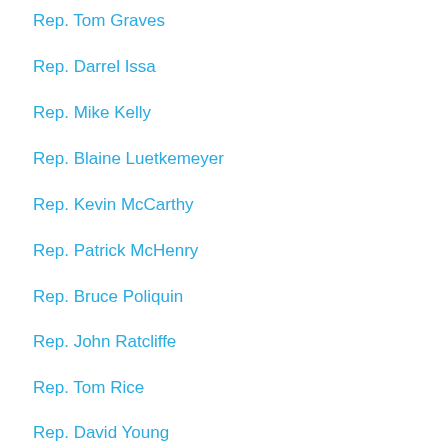Rep. Tom Graves
Rep. Darrel Issa
Rep. Mike Kelly
Rep. Blaine Luetkemeyer
Rep. Kevin McCarthy
Rep. Patrick McHenry
Rep. Bruce Poliquin
Rep. John Ratcliffe
Rep. Tom Rice
Rep. David Young